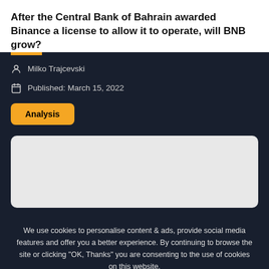After the Central Bank of Bahrain awarded Binance a license to allow it to operate, will BNB grow?
Milko Trajcevski
Published: March 15, 2022
Analysis
[Figure (other): Gray placeholder image block]
We use cookies to personalise content & ads, provide social media features and offer you a better experience. By continuing to browse the site or clicking "OK, Thanks" you are consenting to the use of cookies on this website.
OK, thanks